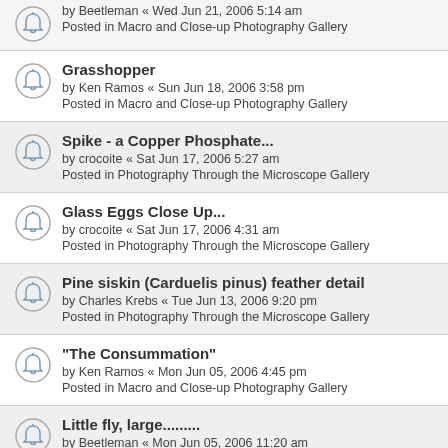by Beetleman « Wed Jun 21, 2006 5:14 am
Posted in Macro and Close-up Photography Gallery
Grasshopper
by Ken Ramos « Sun Jun 18, 2006 3:58 pm
Posted in Macro and Close-up Photography Gallery
Spike - a Copper Phosphate...
by crocoite « Sat Jun 17, 2006 5:27 am
Posted in Photography Through the Microscope Gallery
Glass Eggs Close Up...
by crocoite « Sat Jun 17, 2006 4:31 am
Posted in Photography Through the Microscope Gallery
Pine siskin (Carduelis pinus) feather detail
by Charles Krebs « Tue Jun 13, 2006 9:20 pm
Posted in Photography Through the Microscope Gallery
"The Consummation"
by Ken Ramos « Mon Jun 05, 2006 4:45 pm
Posted in Macro and Close-up Photography Gallery
Little fly, large.........
by Beetleman « Mon Jun 05, 2006 11:20 am